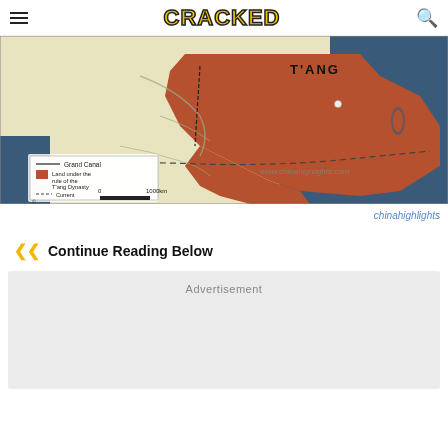CRACKED
[Figure (map): Map showing the T'ang Dynasty territory in orange/brown, with a legend indicating Grand Canal, Land under the rule of the T'ang Dynasty, and Current boundaries of China and Mongolia. Scale bar shows 1000km. Watermark: www.chinahighlights.com]
chinahighlights
Continue Reading Below
Advertisement